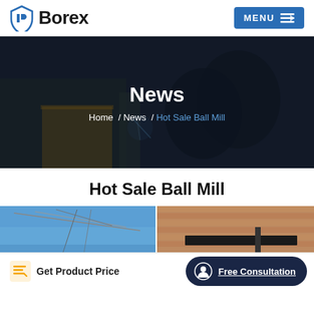Borex — MENU
[Figure (photo): Dark industrial hero banner showing workers in a factory/welding environment with the title 'News' and breadcrumb navigation]
News
Home / News / Hot Sale Ball Mill
Hot Sale Ball Mill
[Figure (photo): Two photos side by side showing industrial/outdoor equipment scenes]
Get Product Price
Free Consultation